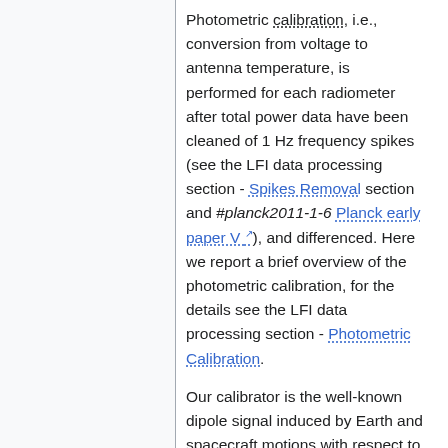Photometric calibration, i.e., conversion from voltage to antenna temperature, is performed for each radiometer after total power data have been cleaned of 1 Hz frequency spikes (see the LFI data processing section - Spikes Removal section and #planck2011-1-6 Planck early paper V), and differenced. Here we report a brief overview of the photometric calibration, for the details see the LFI data processing section - Photometric Calibration.
Our calibrator is the well-known dipole signal induced by Earth and spacecraft motions with respect to the CMB rest frame. The largest calibration uncertainty comes from the presence of the Galaxy and of the CMB anisotropies in the measured signal. We therefore use an iterative calibration procedure, which...